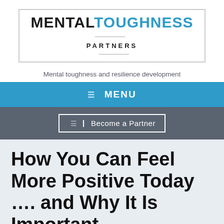[Figure (logo): Mental Toughness Partners logo with border box, MENTAL in black bold, TOUGHNESS in blue bold, PARTNERS in small caps below with horizontal rules]
Mental toughness and resilience development
☰  MENU
☰  Become a Partner
How You Can Feel More Positive Today …. and Why It Is Important